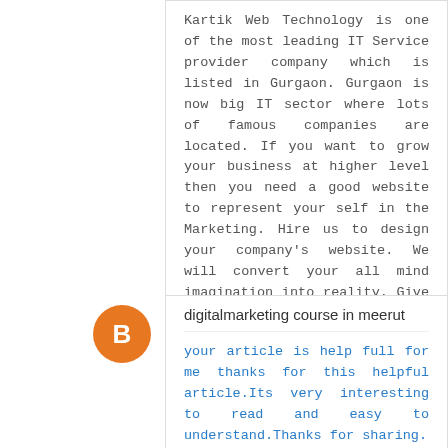Kartik Web Technology is one of the most leading IT Service provider company which is listed in Gurgaon. Gurgaon is now big IT sector where lots of famous companies are located. If you want to grow your business at higher level then you need a good website to represent your self in the Marketing. Hire us to design your company's website. We will convert your all mind imagination into reality. Give us chance to serve our services.
best website Development Company India
Reply
digitalmarketing course in meerut
your article is help full for me thanks for this helpful article.Its very interesting to read and easy to understand.Thanks for sharing.